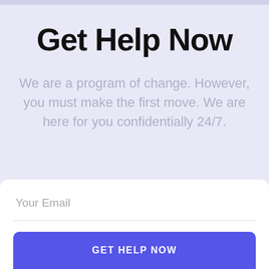Get Help Now
We are a program of change. However, you must make the first move. We are here for you confidentially 24/7.
Your Email
GET HELP NOW